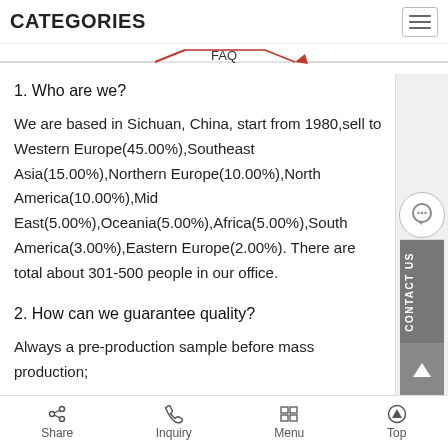CATEGORIES
FAQ
1. Who are we?
We are based in Sichuan, China, start from 1980,sell to Western Europe(45.00%),Southeast Asia(15.00%),Northern Europe(10.00%),North America(10.00%),Mid East(5.00%),Oceania(5.00%),Africa(5.00%),South America(3.00%),Eastern Europe(2.00%). There are total about 301-500 people in our office.
2. How can we guarantee quality?
Always a pre-production sample before mass production;
Always final Inspection before shipment;
Share   Inquiry   Menu   Top